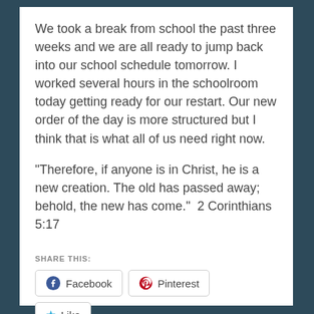We took a break from school the past three weeks and we are all ready to jump back into our school schedule tomorrow. I worked several hours in the schoolroom today getting ready for our restart. Our new order of the day is more structured but I think that is what all of us need right now.
“Therefore, if anyone is in Christ, he is a new creation. The old has passed away; behold, the new has come.”  2 Corinthians 5:17
SHARE THIS:
[Figure (screenshot): Social share buttons: Facebook, Pinterest, and a Like button with star icon]
Be the first to like this.